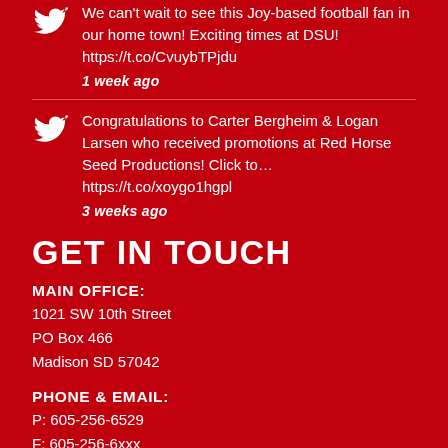We can't wait to see this Joy-based football fan in our home town! Exciting times at DSU! https://t.co/CvuybTPjdu
1 week ago
Congratulations to Carter Bergheim & Logan Larsen who received promotions at Red Horse Seed Productions! Click to… https://t.co/xoygo1hgpl
3 weeks ago
GET IN TOUCH
MAIN OFFICE:
1021 SW 10th Street
PO Box 466
Madison SD 57042
PHONE & EMAIL:
P: 605-256-6529